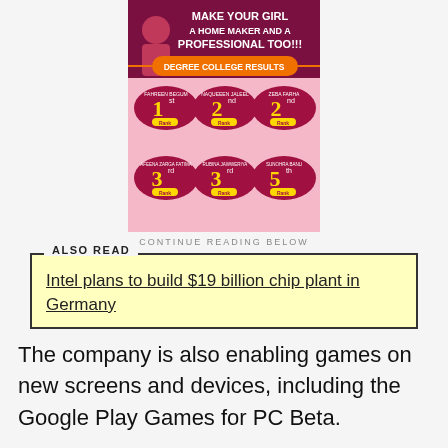[Figure (illustration): Advertisement image for a degree college showing results: 1st Rank (Fahreen Begum), 2nd Rank (Naqueeen Jaleel), 2nd Rank (Zeba Farha), 3rd Rank (Afeena Zarga Fatima), 3rd Rank (Rubina Jawweriya), 5th Rank (Sunohra Banu). Header reads: MAKE YOUR GIRL A HOME MAKER AND A PROFESSIONAL TOO!!! with DEGREE COLLEGE RESULTS banner.]
CONTINUE READING BELOW
ALSO READ
Intel plans to build $19 billion chip plant in Germany
The company is also enabling games on new screens and devices, including the Google Play Games for PC Beta.